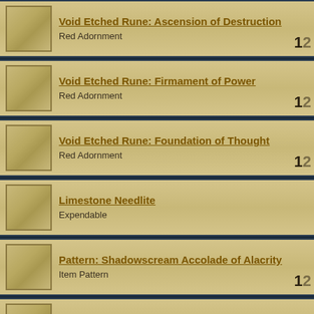Void Etched Rune: Ascension of Destruction
Red Adornment
12
Void Etched Rune: Firmament of Power
Red Adornment
12
Void Etched Rune: Foundation of Thought
Red Adornment
12
Limestone Needlite
Expendable
Pattern: Shadowscream Accolade of Alacrity
Item Pattern
12
Pattern: Shadowscream Accolade of Energy
Item Pattern
12
Pattern: Shadowscream Accolade of Impact
Item Pattern
12